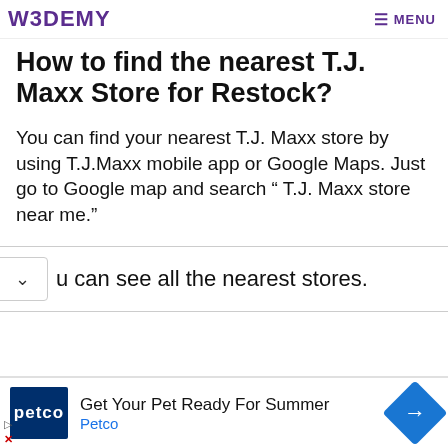W3DEMY  ≡ MENU
How to find the nearest T.J. Maxx Store for Restock?
You can find your nearest T.J. Maxx store by using T.J.Maxx mobile app or Google Maps. Just go to Google map and search " T.J. Maxx store near me."
u can see all the nearest stores.
[Figure (infographic): Advertisement bar: Petco logo, text 'Get Your Pet Ready For Summer' and 'Petco', blue diamond arrow icon, skip/close controls]